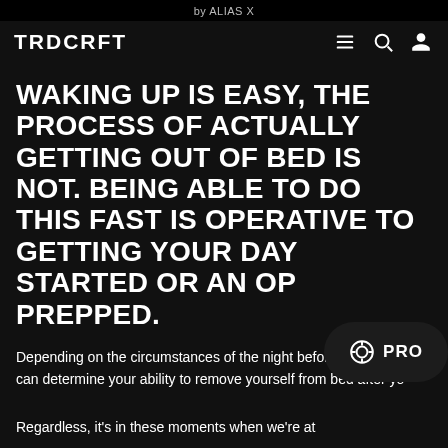by ALIAS X
TRDCRFT
WAKING UP IS EASY, THE PROCESS OF ACTUALLY GETTING OUT OF BED IS NOT. BEING ABLE TO DO THIS FAST IS OPERATIVE TO GETTING YOUR DAY STARTED OR AN OP PREPPED.
Depending on the circumstances of the night before going to sleep can determine your ability to remove yourself from bed after yo
Regardless, it's in these moments when we're at